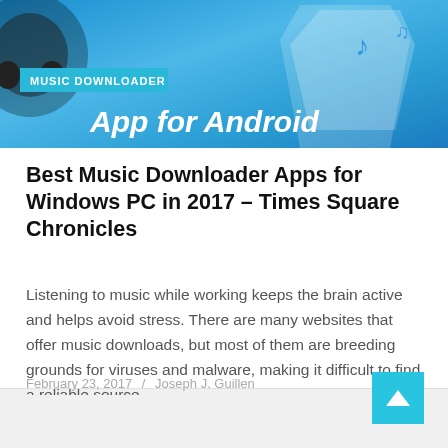[Figure (illustration): Banner image for Music Downloader App for Android with blue gradient background, headphones visible on left, and white origami-style figure on right with musical notes]
Best Music Downloader Apps for Windows PC in 2017 – Times Square Chronicles
Listening to music while working keeps the brain active and helps avoid stress. There are many websites that offer music downloads, but most of them are breeding grounds for viruses and malware, making it difficult to find a reliable source...
February 23, 2017 / Joseph J. Guillen